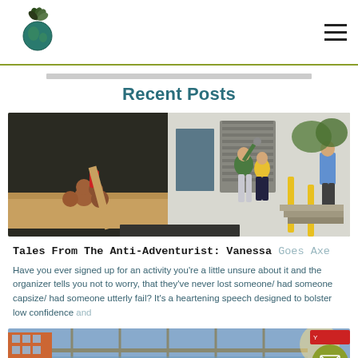Logo and navigation header
Recent Posts
[Figure (photo): Outdoor axe throwing venue with two people throwing axes at a wooden target, log piles in background, a man in blue shirt watching]
Tales From The Anti-Adventurist: Vanessa Goes Axe
Have you ever signed up for an activity you're a little unsure about it and the organizer tells you not to worry, that they've never lost someone/ had someone capsize/ had someone utterly fail? It's a heartening speech designed to bolster low confidence and
[Figure (photo): Urban bridge or walkway with city buildings visible, partial photo cut off at bottom of page]